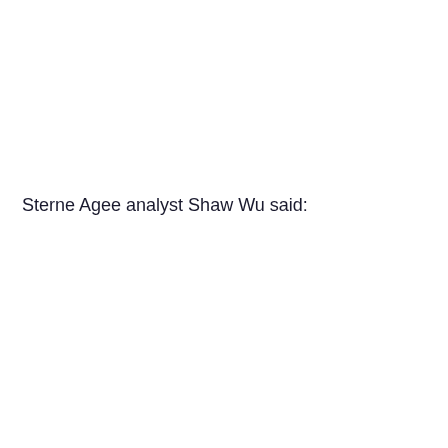Sterne Agee analyst Shaw Wu said: